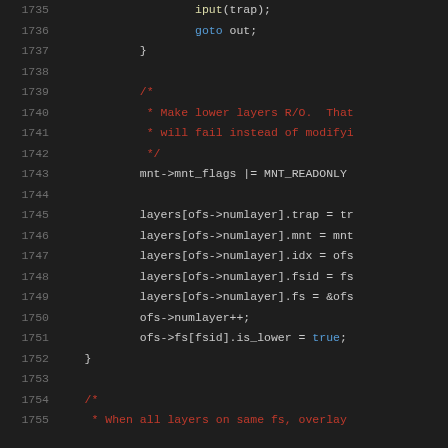Source code listing, lines 1735-1755, C kernel code for overlay filesystem